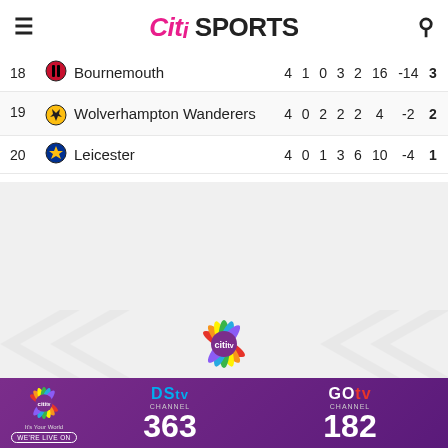Citi SPORTS
| # | Club | P | W | D | L | F | A | GD | Pts |
| --- | --- | --- | --- | --- | --- | --- | --- | --- | --- |
| 18 | Bournemouth | 4 | 1 | 0 | 3 | 2 | 16 | -14 | 3 |
| 19 | Wolverhampton Wanderers | 4 | 0 | 2 | 2 | 2 | 4 | -2 | 2 |
| 20 | Leicester | 4 | 0 | 1 | 3 | 6 | 10 | -4 | 1 |
[Figure (logo): Citi TV logo with rainbow fan design]
[Figure (photo): Football presenters/pundits group photo]
[Figure (infographic): DStv Channel 363 and GOtv Channel 182 advertisement banner with Citi TV logo and WE'RE LIVE ON text]